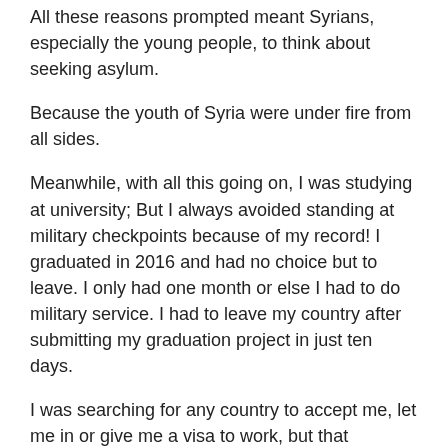All these reasons prompted meant Syrians, especially the young people, to think about seeking asylum.
Because the youth of Syria were under fire from all sides.
Meanwhile, with all this going on, I was studying at university; But I always avoided standing at military checkpoints because of my record! I graduated in 2016 and had no choice but to leave. I only had one month or else I had to do military service. I had to leave my country after submitting my graduation project in just ten days.
I was searching for any country to accept me, let me in or give me a visa to work, but that impossible because I am from Syria. In the end I had to look far round the world -To Europe.